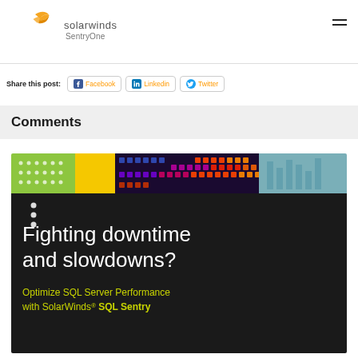[Figure (logo): SolarWinds SentryOne logo with orange swoosh/wing icon]
Share this post:
Facebook
Linkedin
Twitter
Comments
[Figure (illustration): SolarWinds SQL Sentry promotional banner. Dark background with colorful LED-style pixel art strip at top. Text reads: Fighting downtime and slowdowns? Optimize SQL Server Performance with SolarWinds® SQL Sentry]